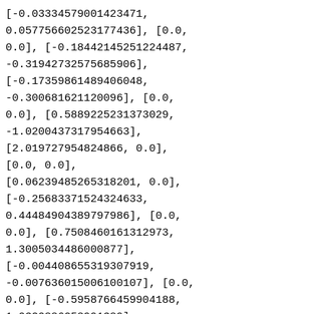[-0.03334579001423471, 0.057756602523177436], [0.0, 0.0], [-0.18442145251224487, -0.31942732575685906], [-0.17359861489406048, -0.300681621120096], [0.0, 0.0], [0.5889225231373029, -1.0200437317954663], [2.019727954824866, 0.0], [0.0, 0.0], [0.06239485265318201, 0.0], [-0.25683371524324633, 0.44484904389797986], [0.0, 0.0], [0.7508460161312973, 1.3005034486000877], [-0.004408655319307919, -0.007636015006100107], [0.0, 0.0], [-0.5958766459904188, 1.0320886258991389], [0.01733123231726844, 0.0],